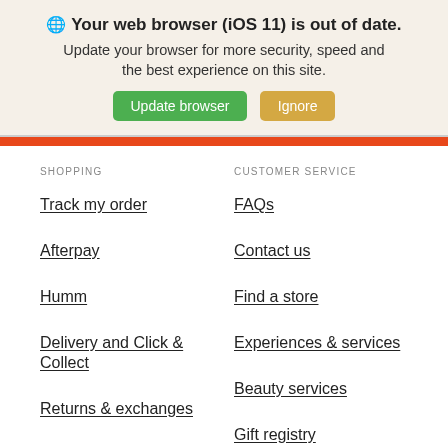🌐 Your web browser (iOS 11) is out of date. Update your browser for more security, speed and the best experience on this site.
Update browser
Ignore
SHOPPING
Track my order
Afterpay
Humm
Delivery and Click & Collect
Returns & exchanges
True Fit
CUSTOMER SERVICE
FAQs
Contact us
Find a store
Experiences & services
Beauty services
Gift registry